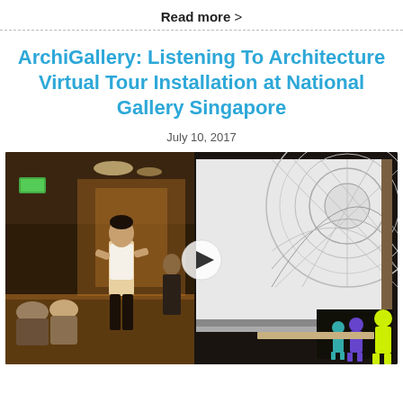Read more >
ArchiGallery: Listening To Architecture Virtual Tour Installation at National Gallery Singapore
July 10, 2017
[Figure (photo): A person stands in a gallery hallway looking at a large projected image of a circular architectural dome interior on a screen. Other visitors are seated and standing. On the right side of the screen, illuminated human silhouettes appear in green/yellow against a dark background. A video play button overlay is visible in the center of the image.]